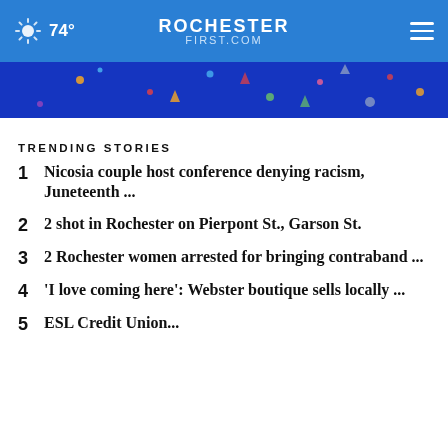74° ROCHESTER FIRST.COM
[Figure (photo): Blue abstract background with colorful confetti dots]
TRENDING STORIES
1 Nicosia couple host conference denying racism, Juneteenth ...
2 2 shot in Rochester on Pierpont St., Garson St.
3 2 Rochester women arrested for bringing contraband ...
4 'I love coming here': Webster boutique sells locally ...
5 ESL Credit Union...